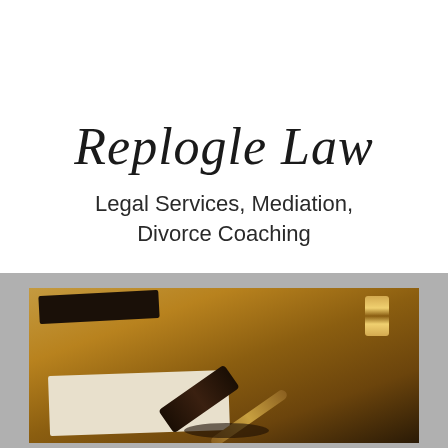Replogle Law
Legal Services, Mediation, Divorce Coaching
P.O. Box 207
Pickerington, OH 43147
[Figure (photo): A wooden desk with a judge's gavel on a sound block, an open legal book/document with text, a dark book in the background, and a small hourglass in the upper right corner. Warm brown wood tones throughout.]